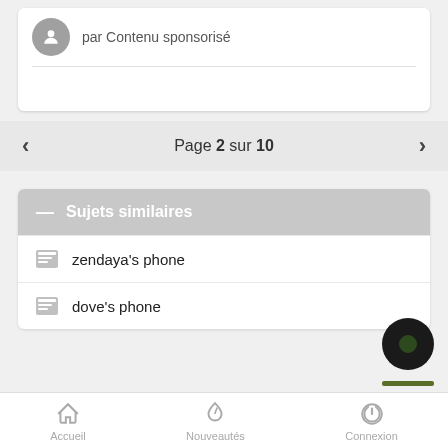par Contenu sponsorisé
Page 2 sur 10
Sujets similaires
zendaya's phone
dove's phone
Accueil   Nouveautés   Connexion